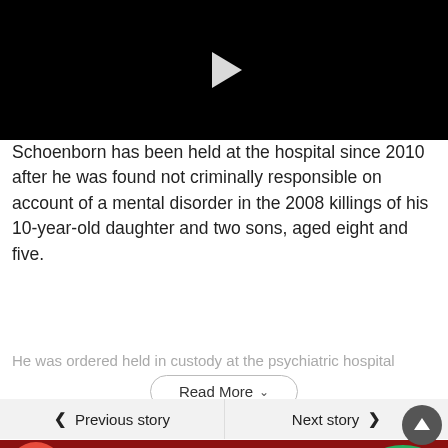[Figure (other): Black video player with white play button triangle in center]
Schoenborn has been held at the hospital since 2010 after he was found not criminally responsible on account of a mental disorder in the 2008 killings of his 10-year-old daughter and two sons, aged eight and five.
He was ordered held in custody at the psychiatric hospital
Read More
< Previous story
Next story >
[Figure (photo): Advertisement banner showing pizzas on left, PIZZAS + SALADS text in yellow on dark red background, salad on right]